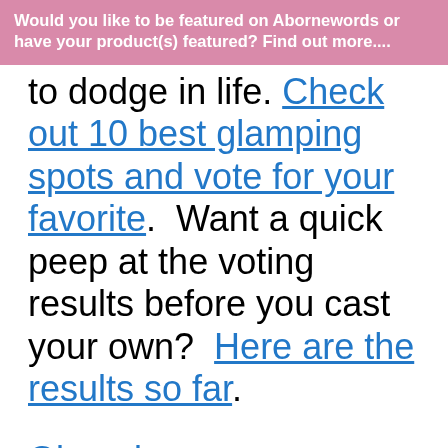Would you like to be featured on Abornewords or have your product(s) featured? Find out more....
to dodge in life. Check out 10 best glamping spots and vote for your favorite.  Want a quick peep at the voting results before you cast your own?  Here are the results so far.
Glamping accessory you may not want to leave